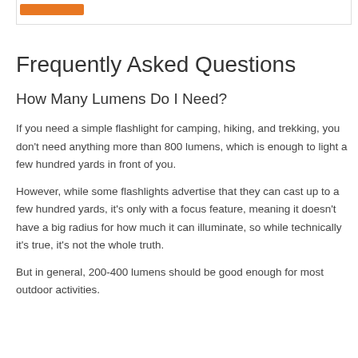Frequently Asked Questions
How Many Lumens Do I Need?
If you need a simple flashlight for camping, hiking, and trekking, you don't need anything more than 800 lumens, which is enough to light a few hundred yards in front of you.
However, while some flashlights advertise that they can cast up to a few hundred yards, it's only with a focus feature, meaning it doesn't have a big radius for how much it can illuminate, so while technically it's true, it's not the whole truth.
But in general, 200-400 lumens should be good enough for most outdoor activities.